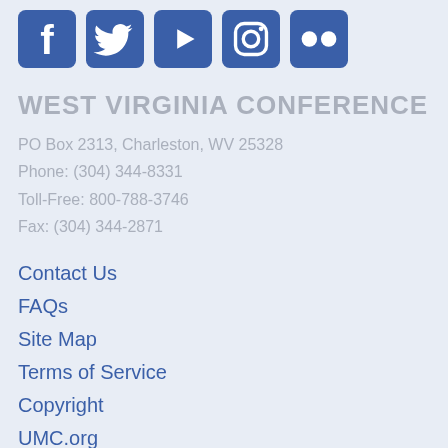[Figure (illustration): Row of five social media icons (Facebook, Twitter, YouTube, Instagram, Flickr) in blue]
WEST VIRGINIA CONFERENCE
PO Box 2313, Charleston, WV 25328
Phone: (304) 344-8331
Toll-Free: 800-788-3746
Fax: (304) 344-2871
Contact Us
FAQs
Site Map
Terms of Service
Copyright
UMC.org